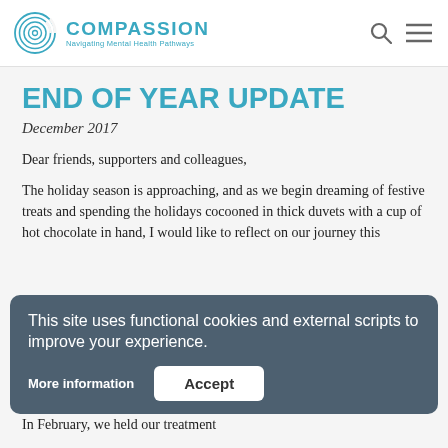[Figure (logo): Compassion logo with circular spiral icon and text 'COMPASSION Navigating Mental Health Pathways' in teal/blue color]
END OF YEAR UPDATE
December 2017
Dear friends, supporters and colleagues,
The holiday season is approaching, and as we begin dreaming of festive treats and spending the holidays cocooned in thick duvets with a cup of hot chocolate in hand, I would like to reflect on our journey this
This site uses functional cookies and external scripts to improve your experience.
In February, we held our treatment